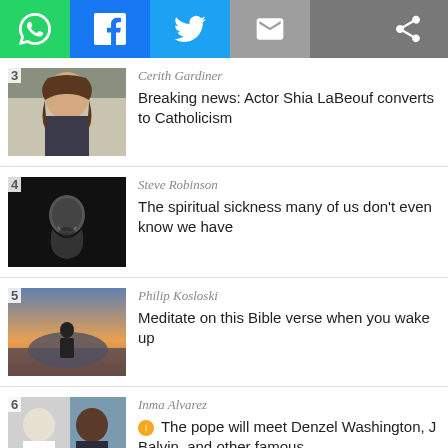[Figure (screenshot): Social media sharing bar with WhatsApp (green), Facebook (blue), Twitter (light blue), Email (grey) icons and a share icon on grey background]
3  Cerith Gardiner
Breaking news: Actor Shia LaBeouf converts to Catholicism
4  Steve Robinson
The spiritual sickness many of us don't even know we have
5  Philip Kosloski
Meditate on this Bible verse when you wake up
6  Inma Alvarez
🔔 The pope will meet Denzel Washington, J Balvin, and other famous ...